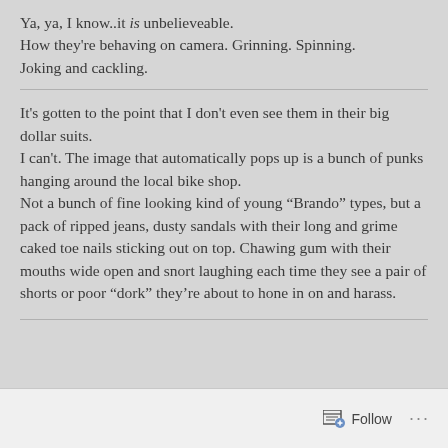Ya, ya, I know..it is unbelieveable.
How they're behaving on camera. Grinning. Spinning. Joking and cackling.
It's gotten to the point that I don't even see them in their big dollar suits.
I can't. The image that automatically pops up is a bunch of punks hanging around the local bike shop.
Not a bunch of fine looking kind of young “Brando” types, but a pack of ripped jeans, dusty sandals with their long and grime caked toe nails sticking out on top. Chawing gum with their mouths wide open and snort laughing each time they see a pair of shorts or poor “dork” they’re about to hone in on and harass.
Follow ...